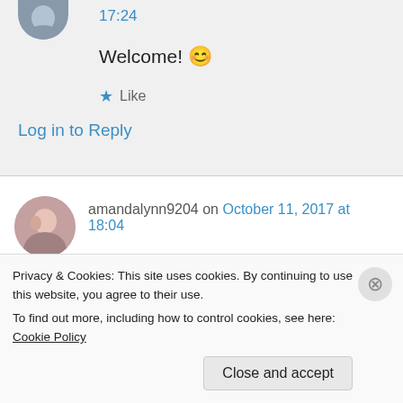17:24
Welcome! 😊
★ Like
Log in to Reply
amandalynn9204 on October 11, 2017 at 18:04
https://hangingwithamanda.wordpress.com/2017/10/11/looking-for-some-fall-reads-look-no-further/
Privacy & Cookies: This site uses cookies. By continuing to use this website, you agree to their use.
To find out more, including how to control cookies, see here: Cookie Policy
Close and accept